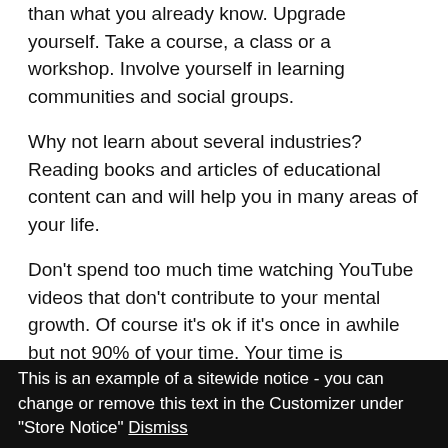than what you already know. Upgrade yourself. Take a course, a class or a workshop. Involve yourself in learning communities and social groups.
Why not learn about several industries? Reading books and articles of educational content can and will help you in many areas of your life.
Don't spend too much time watching YouTube videos that don't contribute to your mental growth. Of course it's ok if it's once in awhile but not 90% of your time. Your time is precious.
Enhance your super human power and nourish your brain. This way, you'll learn about things that your spouse
This is an example of a sitewide notice - you can change or remove this text in the Customizer under "Store Notice" Dismiss